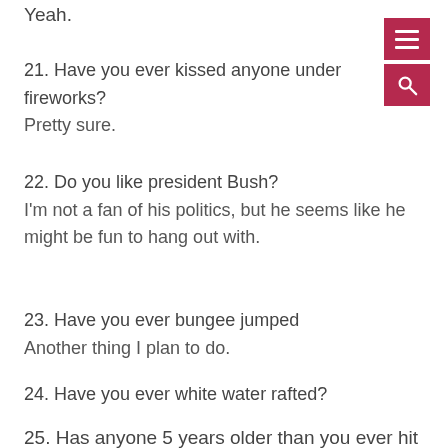Yeah.
21. Have you ever kissed anyone under fireworks?
Pretty sure.
22. Do you like president Bush?
I'm not a fan of his politics, but he seems like he might be fun to hang out with.
23. Have you ever bungee jumped
Another thing I plan to do.
24. Have you ever white water rafted?
Nope.  Wouldn't mind giving it a try.
25. Has anyone 5 years older than you ever hit on you?